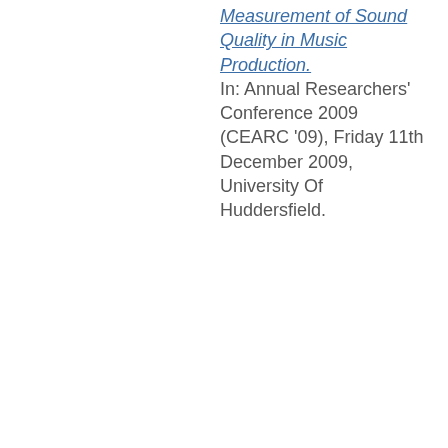Measurement of Sound Quality in Music Production.
In: Annual Researchers' Conference 2009 (CEARC '09), Friday 11th December 2009, University Of Huddersfield.